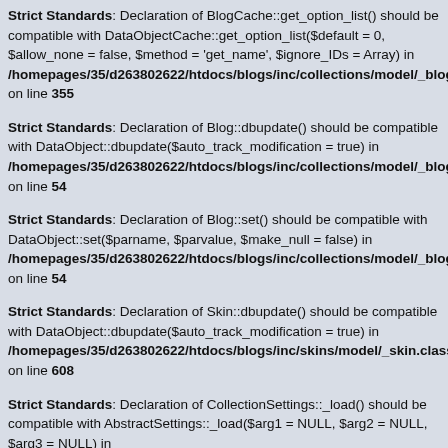Strict Standards: Declaration of BlogCache::get_option_list() should be compatible with DataObjectCache::get_option_list($default = 0, $allow_none = false, $method = 'get_name', $ignore_IDs = Array) in /homepages/35/d263802622/htdocs/blogs/inc/collections/model/_blogc on line 355
Strict Standards: Declaration of Blog::dbupdate() should be compatible with DataObject::dbupdate($auto_track_modification = true) in /homepages/35/d263802622/htdocs/blogs/inc/collections/model/_blog. on line 54
Strict Standards: Declaration of Blog::set() should be compatible with DataObject::set($parname, $parvalue, $make_null = false) in /homepages/35/d263802622/htdocs/blogs/inc/collections/model/_blog. on line 54
Strict Standards: Declaration of Skin::dbupdate() should be compatible with DataObject::dbupdate($auto_track_modification = true) in /homepages/35/d263802622/htdocs/blogs/inc/skins/model/_skin.class. on line 608
Strict Standards: Declaration of CollectionSettings::_load() should be compatible with AbstractSettings::_load($arg1 = NULL, $arg2 = NULL, $arg3 = NULL) in /homepages/35/d263802622/htdocs/blogs/inc/collections/model/_collse on line 164
Warning: Creating default object from empty value in /homepages/35/d263802622/htdocs/blogs/inc/settings/model/_abstract on line 334